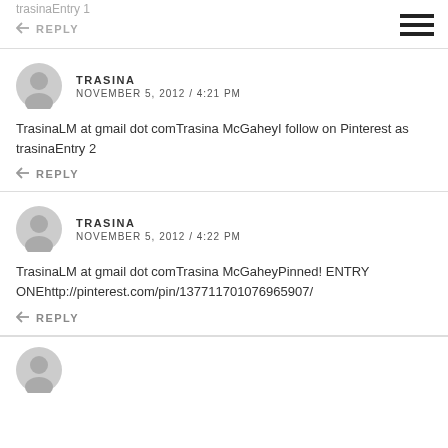trasinaEntry 1
↩ REPLY
TRASINA
NOVEMBER 5, 2012 / 4:21 PM
TrasinaLM at gmail dot comTrasina McGaheyI follow on Pinterest as trasinaEntry 2
↩ REPLY
TRASINA
NOVEMBER 5, 2012 / 4:22 PM
TrasinaLM at gmail dot comTrasina McGaheyPinned! ENTRY ONEhttp://pinterest.com/pin/137711701076965907/
↩ REPLY